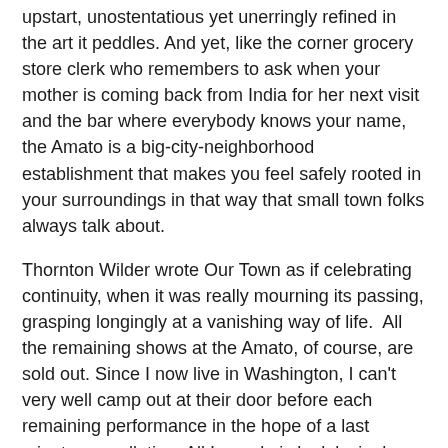upstart, unostentatious yet unerringly refined in the art it peddles. And yet, like the corner grocery store clerk who remembers to ask when your mother is coming back from India for her next visit and the bar where everybody knows your name, the Amato is a big-city-neighborhood establishment that makes you feel safely rooted in your surroundings in that way that small town folks always talk about.
Thornton Wilder wrote Our Town as if celebrating continuity, when it was really mourning its passing, grasping longingly at a vanishing way of life.  All the remaining shows at the Amato, of course, are sold out. Since I now live in Washington, I can't very well camp out at their door before each remaining performance in the hope of a last minute cancellation. All I can do is look lovingly back and say goodbye.
[Cover photo, of Amato Opera building exterior, was released into the public domain by its creator, Jim Henderson]